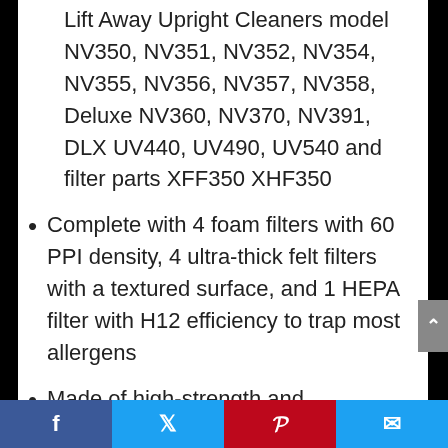Lift Away Upright Cleaners model NV350, NV351, NV352, NV354, NV355, NV356, NV357, NV358, Deluxe NV360, NV370, NV391, DLX UV440, UV490, UV540 and filter parts XFF350 XHF350
Complete with 4 foam filters with 60 PPI density, 4 ultra-thick felt filters with a textured surface, and 1 HEPA filter with H12 efficiency to trap most allergens
Made of high-strength and environmental protection material
Washable and Reusable, Simply rinse with clean water and let it